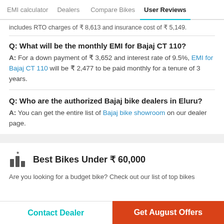EMI calculator  Dealers  Compare Bikes  User Reviews
includes RTO charges of ₹ 8,613 and insurance cost of ₹ 5,149.
Q: What will be the monthly EMI for Bajaj CT 110?
A: For a down payment of ₹ 3,652 and interest rate of 9.5%, EMI for Bajaj CT 110 will be ₹ 2,477 to be paid monthly for a tenure of 3 years.
Q: Who are the authorized Bajaj bike dealers in Eluru?
A: You can get the entire list of Bajaj bike showroom on our dealer page.
Best Bikes Under ₹ 60,000
Are you looking for a budget bike? Check out our list of top bikes
Contact Dealer  Get August Offers